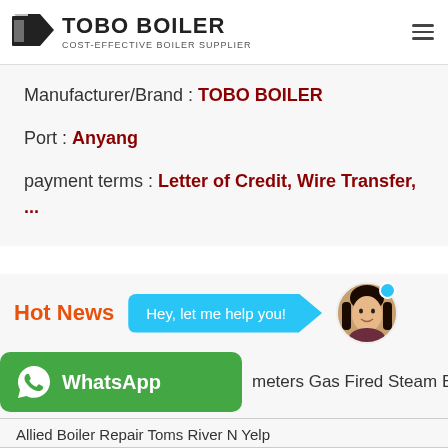TOBO BOILER — COST-EFFECTIVE BOILER SUPPLIER
Manufacturer/Brand : TOBO BOILER
Port : Anyang
payment terms : Letter of Credit, Wire Transfer, ...
Hot News
Hey, let me help you!
WhatsApp
meters Gas Fired Steam Boiler
Allied Boiler Repair Toms River N Yelp